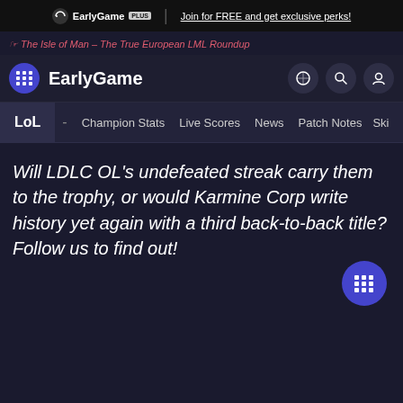EarlyGame PLUS | Join for FREE and get exclusive perks!
The Isle of Man – The True European LML Roundup
EarlyGame — navigation: LoL - Champion Stats  Live Scores  News  Patch Notes  Ski...
Will LDLC OL's undefeated streak carry them to the trophy, or would Karmine Corp write history yet again with a third back-to-back title? Follow us to find out!